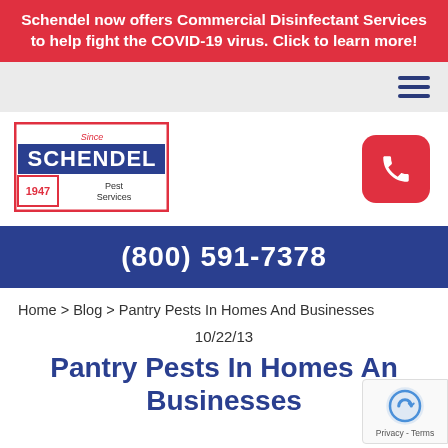Schendel now offers Commercial Disinfectant Services to help fight the COVID-19 virus. Click to learn more!
[Figure (logo): Schendel Pest Services logo with red border box, blue background SCHENDEL text, and '1947' year mark]
(800) 591-7378
Home > Blog > Pantry Pests In Homes And Businesses
10/22/13
Pantry Pests In Homes And Businesses